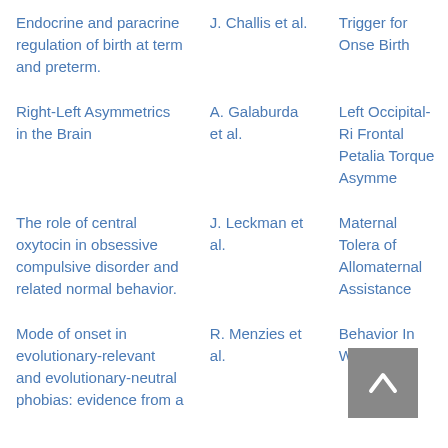| Title | Authors | Related |
| --- | --- | --- |
| Endocrine and paracrine regulation of birth at term and preterm. | J. Challis et al. | Trigger for Onset Birth |
| Right-Left Asymmetrics in the Brain | A. Galaburda et al. | Left Occipital-Ri Frontal Petalia Torque Asymme |
| The role of central oxytocin in obsessive compulsive disorder and related normal behavior. | J. Leckman et al. | Maternal Tolera of Allomaternal Assistance |
| Mode of onset in evolutionary-relevant and evolutionary-neutral phobias: evidence from a | R. Menzies et al. | Behavior In Wat |